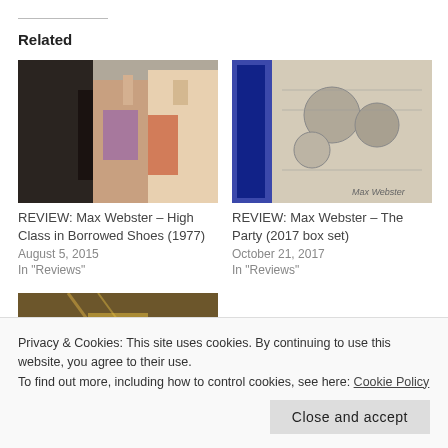Related
[Figure (photo): Band photo showing four people standing in 1970s style clothing]
REVIEW: Max Webster – High Class in Borrowed Shoes (1977)
August 5, 2015
In "Reviews"
[Figure (photo): Photo of a box set with illustrated/cartoon artwork on the cover]
REVIEW: Max Webster – The Party (2017 box set)
October 21, 2017
In "Reviews"
[Figure (photo): Concert or live performance photo with yellow lighting]
In "Reviews"
Privacy & Cookies: This site uses cookies. By continuing to use this website, you agree to their use.
To find out more, including how to control cookies, see here: Cookie Policy